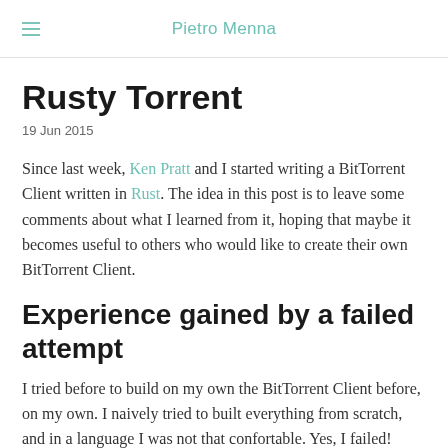Pietro Menna
Rusty Torrent
19 Jun 2015
Since last week, Ken Pratt and I started writing a BitTorrent Client written in Rust. The idea in this post is to leave some comments about what I learned from it, hoping that maybe it becomes useful to others who would like to create their own BitTorrent Client.
Experience gained by a failed attempt
I tried before to build on my own the BitTorrent Client before, on my own. I naively tried to built everything from scratch, and in a language I was not that confortable. Yes, I failed!